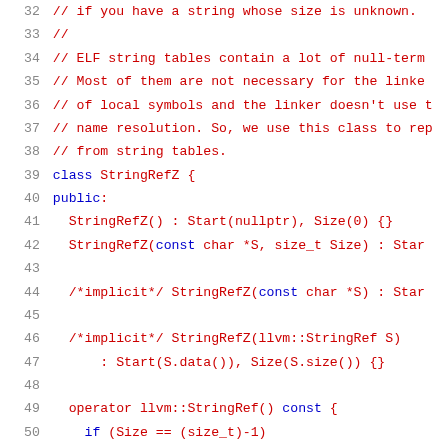[Figure (screenshot): Source code listing showing lines 32-52 of a C++ file defining a StringRefZ class, with line numbers in gray on the left, comments in red, and code in blue/dark text on white background.]